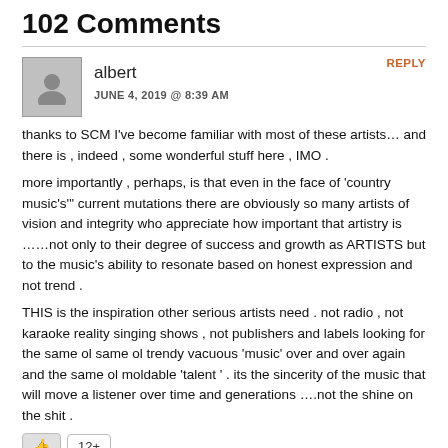102 Comments
thanks to SCM I've become familiar with most of these artists… and there is , indeed , some wonderful stuff here , IMO .
more importantly , perhaps, is that even in the face of 'country music's'' current mutations there are obviously so many artists of vision and integrity who appreciate how important that artistry is ……not only to their degree of success and growth as ARTISTS but to the music's ability to resonate based on honest expression and not trend .
THIS is the inspiration other serious artists need . not radio , not karaoke reality singing shows , not publishers and labels looking for the same ol same ol trendy vacuous 'music' over and over again and the same ol moldable 'talent ' . its the sincerity of the music that will move a listener over time and generations ….not the shine on the shit .